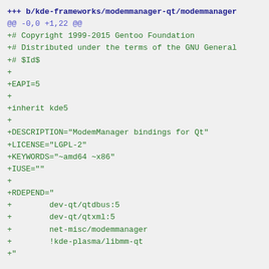+++ b/kde-frameworks/modemmanager-qt/modemmanager
@@ -0,0 +1,22 @@
+# Copyright 1999-2015 Gentoo Foundation
+# Distributed under the terms of the GNU General
+# $Id$
+
+EAPI=5
+
+inherit kde5
+
+DESCRIPTION="ModemManager bindings for Qt"
+LICENSE="LGPL-2"
+KEYWORDS="~amd64 ~x86"
+IUSE=""
+
+RDEPEND="
+        dev-qt/qtdbus:5
+        dev-qt/qtxml:5
+        net-misc/modemmanager
+        !kde-plasma/libmm-qt
+"